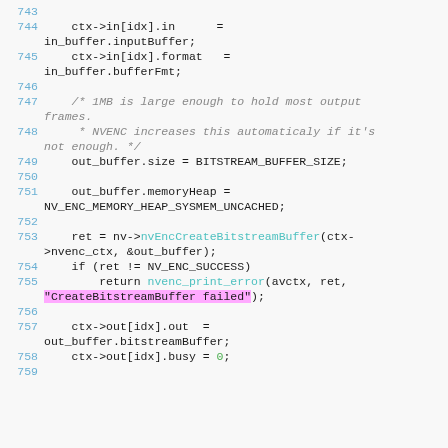Source code listing, lines 743–759, showing NVENC encoder buffer setup in C
743
744     ctx->in[idx].in       = in_buffer.inputBuffer;
745     ctx->in[idx].format   = in_buffer.bufferFmt;
746
747     /* 1MB is large enough to hold most output frames.
748      * NVENC increases this automaticaly if it's not enough. */
749     out_buffer.size = BITSTREAM_BUFFER_SIZE;
750
751     out_buffer.memoryHeap = NV_ENC_MEMORY_HEAP_SYSMEM_UNCACHED;
752
753     ret = nv->nvEncCreateBitstreamBuffer(ctx->nvenc_ctx, &out_buffer);
754     if (ret != NV_ENC_SUCCESS)
755         return nvenc_print_error(avctx, ret, "CreateBitstreamBuffer failed");
756
757     ctx->out[idx].out  = out_buffer.bitstreamBuffer;
758     ctx->out[idx].busy = 0;
759